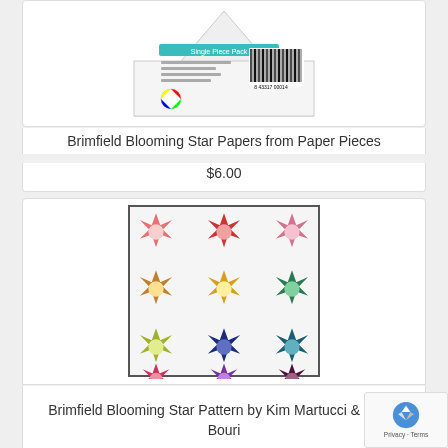[Figure (photo): Product packaging for Brimfield Blooming Star Papers from Paper Pieces — a white triangular/envelope-shaped single piece pack with teal header bar and barcode on the right side.]
Brimfield Blooming Star Papers from Paper Pieces
$6.00
[Figure (photo): A quilt hanging on a white slatted wall, featuring a 4x3 grid of eight-pointed Blooming Star blocks in various colorways including pink/red, coral, deep red/burgundy, yellow-green, gold, teal/green, yellow, navy blue, teal, red/pink, purple, and dark purple/maroon on a white background with curved patchwork accents.]
Brimfield Blooming Star Pattern by Kim Martucci & Nisha Bouri